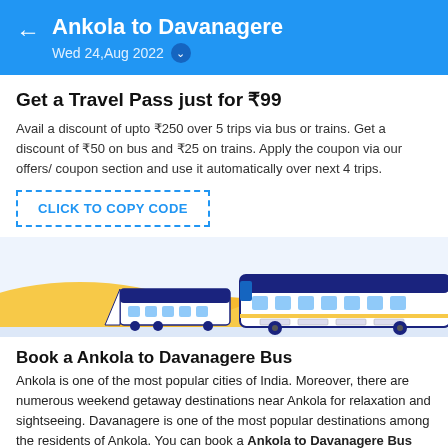Ankola to Davanagere
Wed 24,Aug 2022
Get a Travel Pass just for ₹99
Avail a discount of upto ₹250 over 5 trips via bus or trains. Get a discount of ₹50 on bus and ₹25 on trains. Apply the coupon via our offers/ coupon section and use it automatically over next 4 trips.
CLICK TO COPY CODE
[Figure (illustration): Illustration of yellow sand dunes with a white train and a white bus overlaid on a light blue background]
Book a Ankola to Davanagere Bus
Ankola is one of the most popular cities of India. Moreover, there are numerous weekend getaway destinations near Ankola for relaxation and sightseeing. Davanagere is one of the most popular destinations among the residents of Ankola. You can book a Ankola to Davanagere Bus and explore this beautiful city. You can book a bus on Golbibo from a government-run service as well as private operators.
You can book a Ankola to Davanagere bus and embark on a memorable journey. Golbibo allows you to travel at affordable prices in AC as well as Non-AC buses.
Ankola to Davanagere Bus Duration and Time